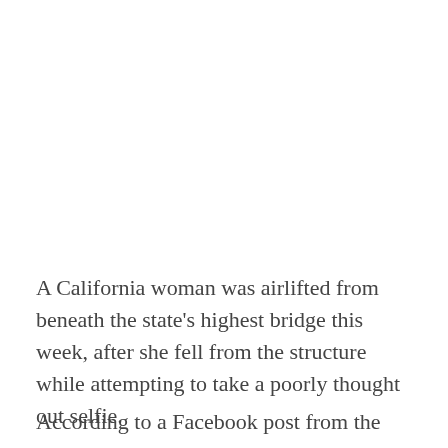A California woman was airlifted from beneath the state's highest bridge this week, after she fell from the structure while attempting to take a poorly thought out selfie.
According to a Facebook post from the